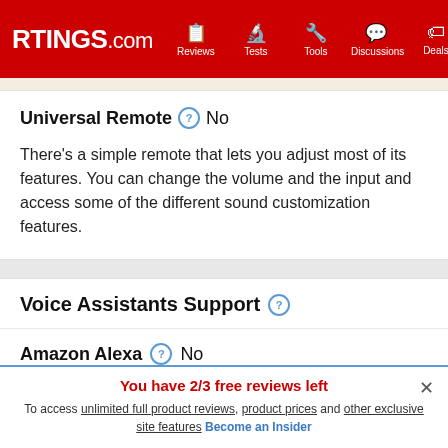RTINGS.com | Reviews | Tests | Tools | Discussions | Deals
Universal Remote ? No
There's a simple remote that lets you adjust most of its features. You can change the volume and the input and access some of the different sound customization features.
Voice Assistants Support ?
Amazon Alexa ? No
You have 2/3 free reviews left
To access unlimited full product reviews, product prices and other exclusive site features Become an Insider